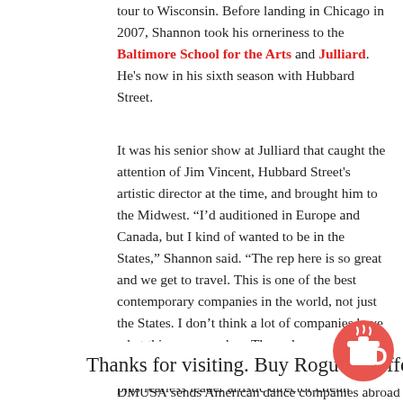tour to Wisconsin. Before landing in Chicago in 2007, Shannon took his orneriness to the Baltimore School for the Arts and Julliard. He's now in his sixth season with Hubbard Street.
It was his senior show at Julliard that caught the attention of Jim Vincent, Hubbard Street's artistic director at the time, and brought him to the Midwest. “I’d auditioned in Europe and Canada, but I kind of wanted to be in the States,” Shannon said. “The rep here is so great and we get to travel. This is one of the best contemporary companies in the world, not just the States. I don’t think a lot of companies have what this company has. These dancers can do anything and do it well.” Seven of those dancers, plus fearless leader artistic director Glenn Edgerton, joined Shannon this week in an epic adventure.
ral
Thanks for visiting. Buy Rogue a coffee!
[Figure (illustration): Red circular button with a coffee cup icon (Buy Me a Coffee style button)]
3AM d ye
DMUSА sends American dance companies abroad for